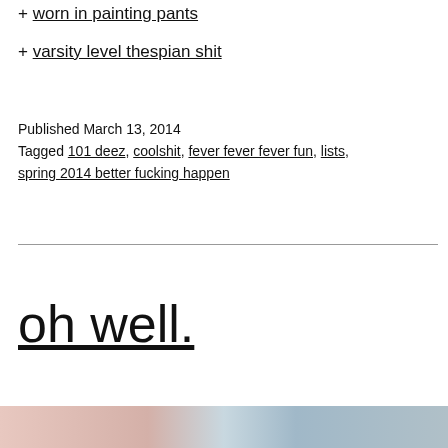+ worn in painting pants
+ varsity level thespian shit
Published March 13, 2014
Tagged 101 deez, coolshit, fever fever fever fun, lists, spring 2014 better fucking happen
oh well.
[Figure (photo): Photo strip at bottom of page showing partial images in pink and blue tones]